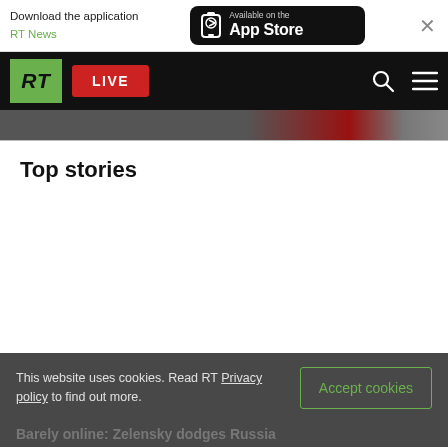Download the application RT News — Available on the App Store
[Figure (screenshot): RT navigation bar with green RT logo, red LIVE button, search icon, and hamburger menu on black background]
[Figure (photo): Partial hero image strip in dark tones]
Top stories
This website uses cookies. Read RT Privacy policy to find out more.
Accept cookies
Barely online: Zelensky dodges Russia...